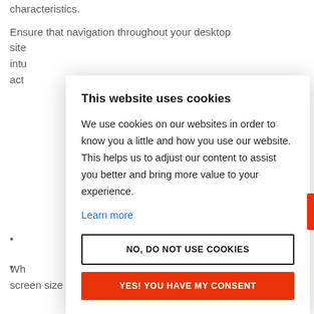characteristics.
Ensure that navigation throughout your desktop site intu act
ll
Wh screen size means that there are some
[Figure (screenshot): Cookie consent modal dialog overlay. Title: 'This website uses cookies'. Body text: 'We use cookies on our websites in order to know you a little and how you use our website. This helps us to adjust our content to assist you better and bring more value to your experience.' Link: 'Learn more'. Two buttons: 'NO, DO NOT USE COOKIES' (outlined) and 'YES! YOU HAVE MY CONSENT' (red). Red scroll-to-top arrow button on right side.]